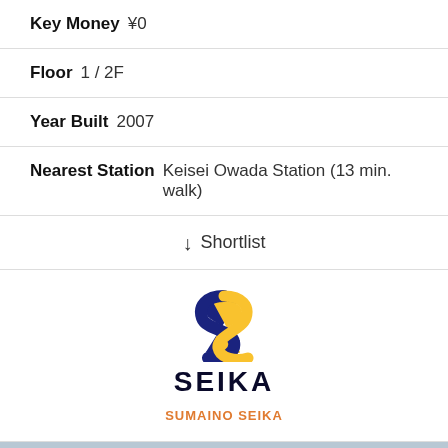Key Money ¥0
Floor 1 / 2F
Year Built 2007
Nearest Station Keisei Owada Station (13 min. walk)
↓ Shortlist
[Figure (logo): SEIKA real estate agency logo with blue and yellow S symbol and SEIKA text, SUMAINO SEIKA link below]
[Figure (photo): Building exterior photo showing glass facade and dark structural elements, with reCAPTCHA overlay in bottom right corner]